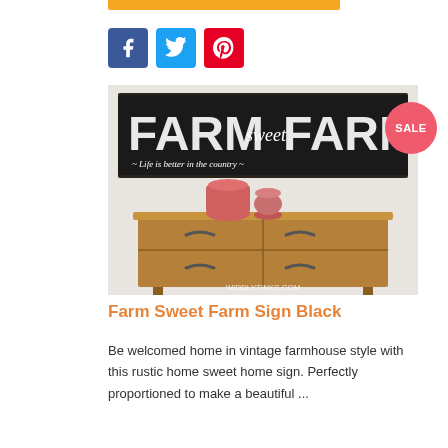[Figure (other): Orange horizontal bar at the top center of the page]
[Figure (other): Social media icons: Facebook (blue), Twitter (light blue), Pinterest (red)]
[Figure (photo): Photo of a rustic farmhouse sign reading 'FARM sweet FARM - Life is better in the country' displayed above a wooden dresser with two pink/coral ceramic vases. Watermark: WIDDLYTINKS.COM]
[Figure (other): Red circular SALE badge]
Farm Sweet Farm Sign Black
Be welcomed home in vintage farmhouse style with this rustic home sweet home sign. Perfectly proportioned to make a beautiful ...